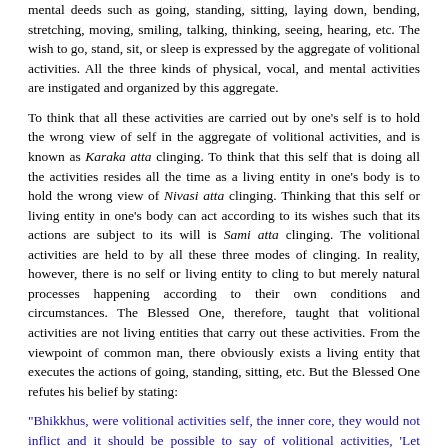mental deeds such as going, standing, sitting, laying down, bending, stretching, moving, smiling, talking, thinking, seeing, hearing, etc. The wish to go, stand, sit, or sleep is expressed by the aggregate of volitional activities. All the three kinds of physical, vocal, and mental activities are instigated and organized by this aggregate.
To think that all these activities are carried out by one's self is to hold the wrong view of self in the aggregate of volitional activities, and is known as Karaka atta clinging. To think that this self that is doing all the activities resides all the time as a living entity in one's body is to hold the wrong view of Nivasi atta clinging. Thinking that this self or living entity in one's body can act according to its wishes such that its actions are subject to its will is Sami atta clinging. The volitional activities are held to by all these three modes of clinging. In reality, however, there is no self or living entity to cling to but merely natural processes happening according to their own conditions and circumstances. The Blessed One, therefore, taught that volitional activities are not living entities that carry out these activities. From the viewpoint of common man, there obviously exists a living entity that executes the actions of going, standing, sitting, etc. But the Blessed One refutes his belief by stating:
"Bhikkhus, were volitional activities self, the inner core, they would not inflict and it should be possible to say of volitional activities, 'Let volitional activities be thus (all wholesome); let volitional activities not be thus (unwholesome), and manageable as one wishes.'"
REASONS WHY VOLITIONAL ACTIVITIES ARE NOT SELF
These volitional activities are mental states headed by volition. There are fifty-two kinds of mental states, and besides the two states of sensation